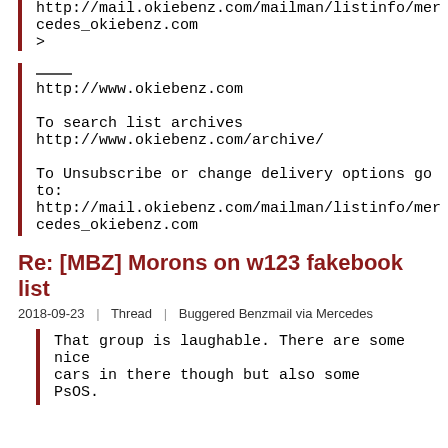http://mail.okiebenz.com/mailman/listinfo/mercedes_okiebenz.com
>
___
http://www.okiebenz.com

To search list archives
http://www.okiebenz.com/archive/

To Unsubscribe or change delivery options go to:
http://mail.okiebenz.com/mailman/listinfo/mercedes_okiebenz.com
Re: [MBZ] Morons on w123 fakebook list
2018-09-23 | Thread | Buggered Benzmail via Mercedes
That group is laughable. There are some nice cars in there though but also some PsOS.